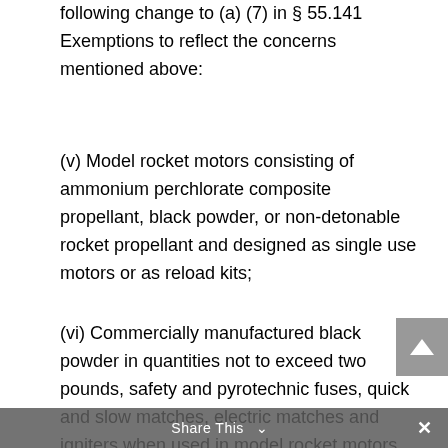following change to (a) (7) in § 55.141 Exemptions to reflect the concerns mentioned above:
(v) Model rocket motors consisting of ammonium perchlorate composite propellant, black powder, or non-detonable rocket propellant and designed as single use motors or as reload kits;
(vi) Commercially manufactured black powder in quantities not to exceed two pounds, safety and pyrotechnic fuses, quick and slow matches, electric matches and igniters when used in model rocket motors.
Share This ∨  ✕